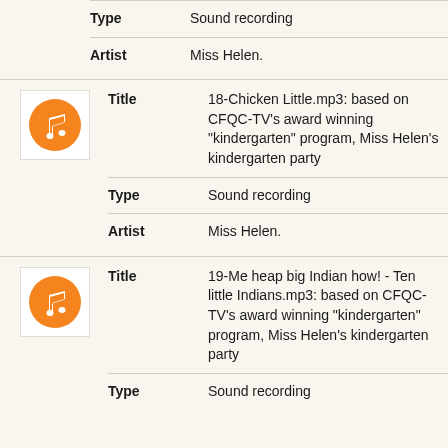Type: Sound recording
Artist: Miss Helen.
Title: 18-Chicken Little.mp3: based on CFQC-TV's award winning "kindergarten" program, Miss Helen's kindergarten party
Type: Sound recording
Artist: Miss Helen.
Title: 19-Me heap big Indian how! - Ten little Indians.mp3: based on CFQC-TV's award winning "kindergarten" program, Miss Helen's kindergarten party
Type: Sound recording